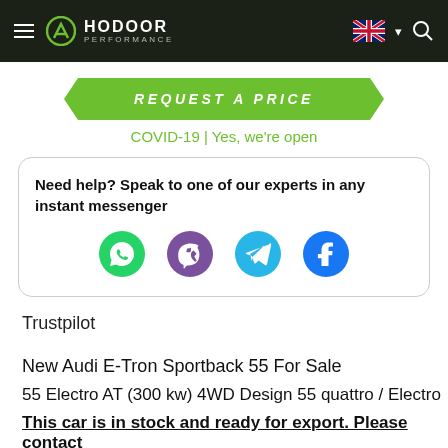HODOOR PERFORMANCE
REQUEST A PRICE
COVID-19 | Yes, we're open
Need help? Speak to one of our experts in any instant messenger
[Figure (infographic): Four social media icon buttons: WhatsApp (green), Viber (purple), Telegram (blue), Facebook (dark blue)]
Trustpilot
New Audi E-Tron Sportback 55 For Sale
55 Electro AT (300 kw) 4WD Design 55 quattro / Electro
This car is in stock and ready for export. Please contact